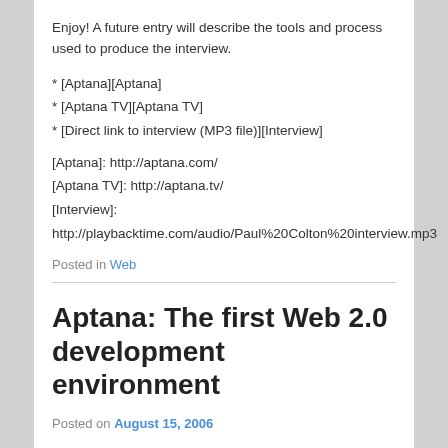Enjoy! A future entry will describe the tools and process used to produce the interview.
* [Aptana][Aptana]
* [Aptana TV][Aptana TV]
* [Direct link to interview (MP3 file)][Interview]
[Aptana]: http://aptana.com/
[Aptana TV]: http://aptana.tv/
[Interview]: http://playbacktime.com/audio/Paul%20Colton%20interview.mp3
Posted in Web
Aptana: The first Web 2.0 development environment
Posted on August 15, 2006